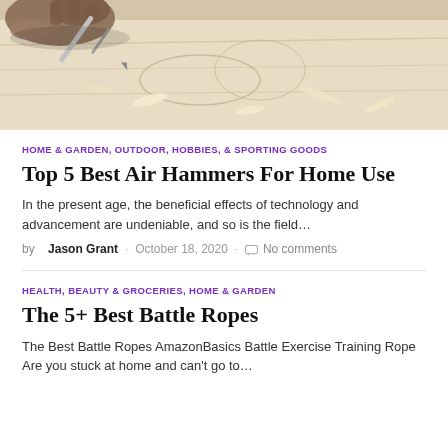[Figure (photo): Close-up photo of hands using a tool (chisel or carving tool) on a light-colored surface with wood shavings]
HOME & GARDEN, OUTDOOR, HOBBIES, & SPORTING GOODS
Top 5 Best Air Hammers For Home Use
In the present age, the beneficial effects of technology and advancement are undeniable, and so is the field…
by Jason Grant · October 18, 2020 · No comments
HEALTH, BEAUTY & GROCERIES, HOME & GARDEN
The 5+ Best Battle Ropes
The Best Battle Ropes AmazonBasics Battle Exercise Training Rope Are you stuck at home and can't go to…